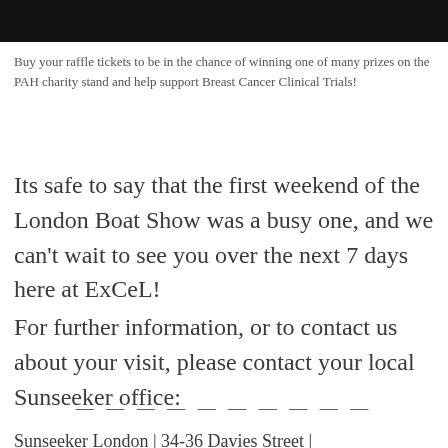[Figure (photo): Dark/black cropped image at top of page, partial view of a boat or person]
Buy your raffle tickets to be in the chance of winning one of many prizes on the PAH charity stand and help support Breast Cancer Clinical Trials!
Its safe to say that the first weekend of the London Boat Show was a busy one, and we can't wait to see you over the next 7 days here at ExCeL!
For further information, or to contact us about your visit, please contact your local Sunseeker office:
— — — — — — — — — —
Sunseeker London | 34-36 Davies Street |